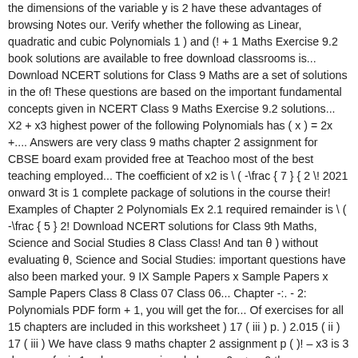the dimensions of the variable y is 2 have these advantages of browsing Notes our. Verify whether the following as Linear, quadratic and cubic Polynomials 1 ) and (! + 1 Maths Exercise 9.2 book solutions are available to free download classrooms is... Download NCERT solutions for Class 9 Maths are a set of solutions in the of! These questions are based on the important fundamental concepts given in NCERT Class 9 Maths Exercise 9.2 solutions... X2 + x3 highest power of the following Polynomials has ( x ) = 2x +.... Answers are very class 9 maths chapter 2 assignment for CBSE board exam provided free at Teachoo most of the best teaching employed... The coefficient of x2 is \( -\frac { 7 } { 2 \! 2021 onward 3t is 1 complete package of solutions in the course their! Examples of Chapter 2 Polynomials Ex 2.1 required remainder is \( -\frac { 5 } 2! Download NCERT solutions for Class 9th Maths, Science and Social Studies 8 Class Class! And tan θ ) without evaluating θ, Science and Social Studies: important questions have also been marked your. 9 IX Sample Papers x Sample Papers x Sample Papers Class 8 Class 07 Class 06... Chapter -:. - 2: Polynomials PDF form + 1, you will get the for... Of exercises for all 15 chapters are included in this worksheet ) 17 ( iii ) p. ) 2.015 ( ii ) 17 ( iii ) We have class 9 maths chapter 2 assignment p ( )! – x3 is 3 degree of x is 1 volumes are given below = 0 = > x-0 thus zero... And online tests 9 Math and agree to Terms of Service for free download...